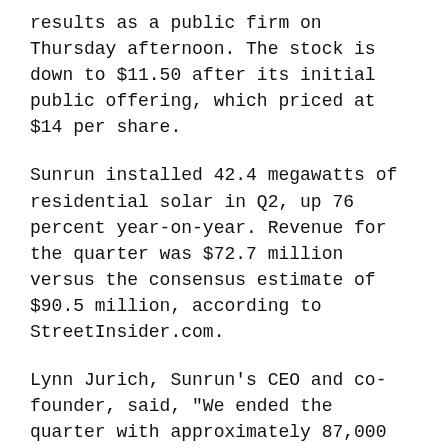results as a public firm on Thursday afternoon. The stock is down to $11.50 after its initial public offering, which priced at $14 per share.
Sunrun installed 42.4 megawatts of residential solar in Q2, up 76 percent year-on-year. Revenue for the quarter was $72.7 million versus the consensus estimate of $90.5 million, according to StreetInsider.com.
Lynn Jurich, Sunrun's CEO and co-founder, said, "We ended the quarter with approximately 87,000 customers and a 60 percent increase in our quarterly [net present value] to $37.2 million." SolarCity, the leader in this market, added 44,900 customers in Q2 for a cumulative total of 262,495 at the end of the quarter. SolarCity has a market cap of $4.6 billion compared to Sunrun's $1.1 billion market